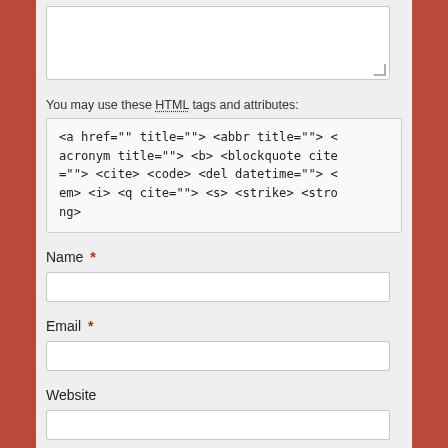You may use these HTML tags and attributes:
<a href="" title=""> <abbr title=""> <acronym title=""> <b> <blockquote cite=""> <cite> <code> <del datetime=""> <em> <i> <q cite=""> <s> <strike> <strong>
Name *
Email *
Website